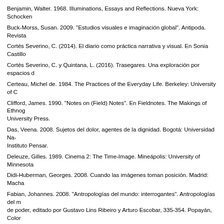Benjamin, Walter. 1968. Illuminations, Essays and Reflections. Nueva York: Schocken
Buck-Morss, Susan. 2009. "Estudios visuales e imaginación global". Antipoda. Revista
Cortés Severino, C. (2014). El diario como práctica narrativa y visual. En Sonia Castillo
Cortés Severino, C. y Quintana, L. (2016). Trasegares. Una exploración por espacios d
Certeau, Michel de. 1984. The Practices of the Everyday Life. Berkeley: University of C
Clifford, James. 1990. "Notes on (Field) Notes". En Fieldnotes. The Makings of Ethnog University Press.
Das, Veena. 2008. Sujetos del dolor, agentes de la dignidad. Bogotá: Universidad Na- Instituto Pensar.
Deleuze, Gilles. 1989. Cinema 2: The Time-Image. Mineápolis: University of Minnesota
Didi-Huberman, Georges. 2008. Cuando las imágenes toman posición. Madrid: Macha
Fabian, Johannes. 2008. "Antropologías del mundo: interrogantes". Antropologías del m de poder, editado por Gustavo Lins Ribeiro y Arturo Escobar, 335-354. Popayán, Color
García Arboleda, Juan Felipe. 2012. "Sobre la práctica de escribir diarios y la Mirada a 2016. https://antropo2.wordpress.com/2012/08/20/sobre-la-practica-de-escribir-dia- rio
Gell, Alfred. 1998. Art and Agency: An Anthropological Theory. Oxford: Clarendon.
Gil, Javier. 2010. "Pensamiento visual y pedagogia". Revista de Artes Visuales Errata. https://issuu.com/revistaerrata/docs/errata_4_pedagogia_educacion_artistica
Guattari, Félix. 1989. Cartographies schizoanalytiques. París: Galilée. Haraway, Donna Nature. Nueva York: Routledge.
Haraway, D. (1991). Simians, Cyborgs and Women: The Reinvention of Nature. Nueva
Ingold, Tim. 2015. "Soñando con dragones: sobre la imaginación de la vida real". Nóma